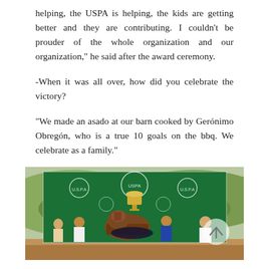helping, the USPA is helping, the kids are getting better and they are contributing. I couldn't be prouder of the whole organization and our organization," he said after the award ceremony.
-When it was all over, how did you celebrate the victory?
"We made an asado at our barn cooked by Gerónimo Obregón, who is a true 10 goals on the bbq. We celebrate as a family."
[Figure (photo): Photo of polo players and a horse posing in front of a green banner/backdrop with USPA logos and a trophy, taken outdoors with hills in background.]